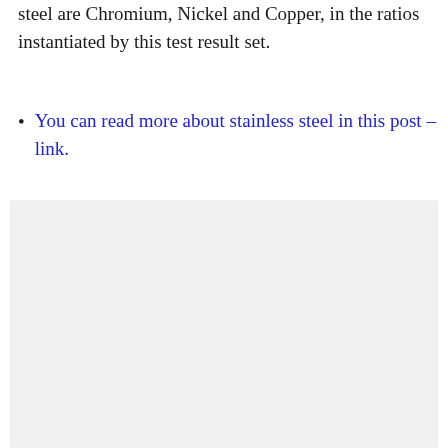steel are Chromium, Nickel and Copper, in the ratios instantiated by this test result set.
You can read more about stainless steel in this post – link.
[Figure (other): Gray placeholder box with three dots indicating loading content]